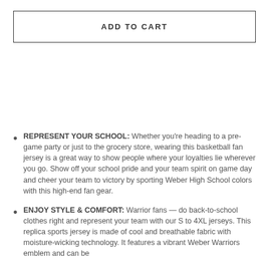ADD TO CART
REPRESENT YOUR SCHOOL: Whether you're heading to a pre-game party or just to the grocery store, wearing this basketball fan jersey is a great way to show people where your loyalties lie wherever you go. Show off your school pride and your team spirit on game day and cheer your team to victory by sporting Weber High School colors with this high-end fan gear.
ENJOY STYLE & COMFORT: Warrior fans — do back-to-school clothes right and represent your team with our S to 4XL jerseys. This replica sports jersey is made of cool and breathable fabric with moisture-wicking technology. It features a vibrant Weber Warriors emblem and can be